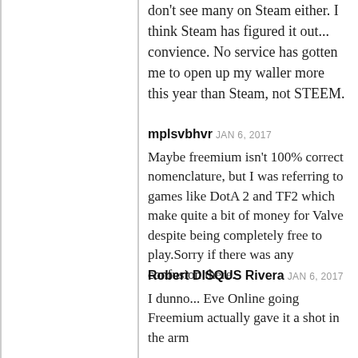don't see many on Steam either. I think Steam has figured it out... convience. No service has gotten me to open up my waller more this year than Steam, not STEEM.
mplsvbhvr JAN 6, 2017
Maybe freemium isn't 100% correct nomenclature, but I was referring to games like DotA 2 and TF2 which make quite a bit of money for Valve despite being completely free to play.Sorry if there was any confusion there.
Robert DISQUS Rivera JAN 6, 2017
I dunno... Eve Online going Freemium actually gave it a shot in the arm